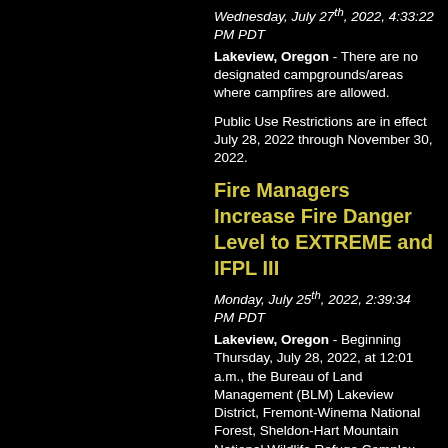Wednesday, July 27th, 2022, 4:33:22 PM PDT
Lakeview, Oregon - There are no designated campgrounds/areas where campfires are allowed.
Public Use Restrictions are in effect July 28, 2022 through November 30, 2022.
Fire Managers Increase Fire Danger Level to EXTREME and IFPL III
Monday, July 25th, 2022, 2:39:34 PM PDT
Lakeview, Oregon - Beginning Thursday, July 28, 2022, at 12:01 a.m., the Bureau of Land Management (BLM) Lakeview District, Fremont-Winema National Forest, Sheldon-Hart Mountain National Wildlife Refuge Complex, Klamath Basin National Wildlife Refuge Complex, and all private, county, and state wildlands protected by the Klamath-Lake District, Oregon Department of